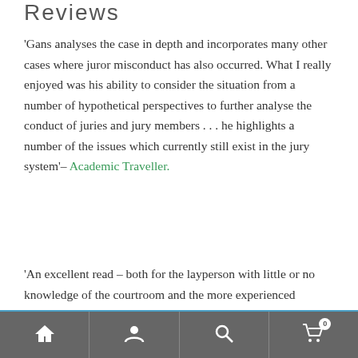Reviews
'Gans analyses the case in depth and incorporates many other cases where juror misconduct has also occurred. What I really enjoyed was his ability to consider the situation from a number of hypothetical perspectives to further analyse the conduct of juries and jury members . . . he highlights a number of the issues which currently still exist in the jury system'– Academic Traveller.
'An excellent read – both for the layperson with little or no knowledge of the courtroom and the more experienced
ⓘ We noticed you're visiting from United States (US). We've updated our prices to United States (US) dollar for your shopping convenience. Use Pound sterling instead. Dismiss